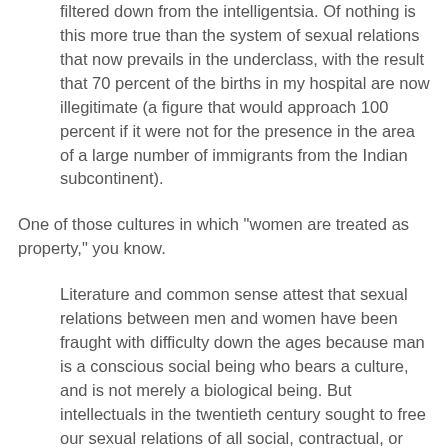filtered down from the intelligentsia. Of nothing is this more true than the system of sexual relations that now prevails in the underclass, with the result that 70 percent of the births in my hospital are now illegitimate (a figure that would approach 100 percent if it were not for the presence in the area of a large number of immigrants from the Indian subcontinent).
One of those cultures in which "women are treated as property," you know.
Literature and common sense attest that sexual relations between men and women have been fraught with difficulty down the ages because man is a conscious social being who bears a culture, and is not merely a biological being. But intellectuals in the twentieth century sought to free our sexual relations of all social, contractual, or moral obligations and meaning whatsoever, so that henceforth only raw sexual desire itself would count in our decision making.